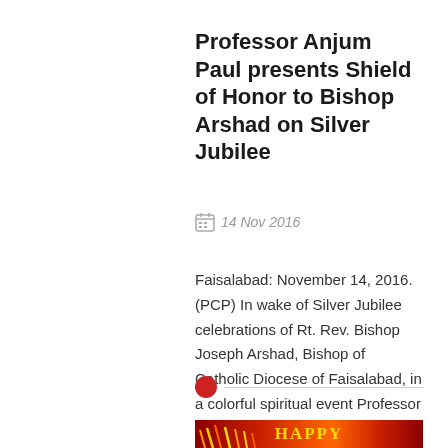Professor Anjum Paul presents Shield of Honor to Bishop Arshad on Silver Jubilee
14 Nov 2016
Faisalabad: November 14, 2016. (PCP) In wake of Silver Jubilee celebrations of Rt. Rev. Bishop Joseph Arshad, Bishop of Catholic Diocese of Faisalabad, in a colorful spiritual event Professor Anjum James Paul presented Shield of Honor for his spiritual and social services on November 1, 2016. Bisho
[Figure (other): Red dot with horizontal divider line]
[Figure (other): Red and gold banner with the word HAPPY, flame decorations on left side]